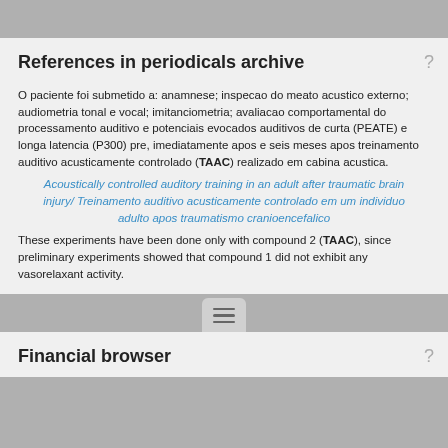References in periodicals archive
O paciente foi submetido a: anamnese; inspecao do meato acustico externo; audiometria tonal e vocal; imitanciometria; avaliacao comportamental do processamento auditivo e potenciais evocados auditivos de curta (PEATE) e longa latencia (P300) pre, imediatamente apos e seis meses apos treinamento auditivo acusticamente controlado (TAAC) realizado em cabina acustica.
Acoustically controlled auditory training in an adult after traumatic brain injury/ Treinamento auditivo acusticamente controlado em um individuo adulto apos traumatismo cranioencefalico
These experiments have been done only with compound 2 (TAAC), since preliminary experiments showed that compound 1 did not exhibit any vasorelaxant activity.
Financial browser